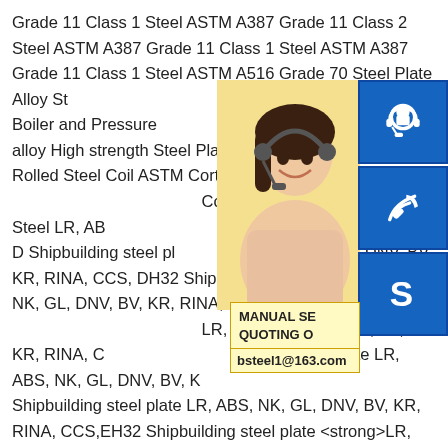Grade 11 Class 1 Steel ASTM A387 Grade 11 Class 2 Steel ASTM A387 Grade 11 Class 1 Steel ASTM A387 Grade 11 Class 1 Steel ASTM A516 Grade 70 Steel Plate Alloy Structure Steel Plate Boiler and Pressure and Low alloy High strength Steel Plate Rolled Steel Coil ASTM Corten A Weather Corten B Weather Resistant Steel LR, ABS, RINA, CCS, Grade D Shipbuilding steel pl DNV, BV, KR, RINA, CCS, DH32 Shipbuilding NK, GL, DNV, BV, KR, RINA, CCS,DH36 S LR, ABS, NK, GL, DNV, BV, KR, RINA, CC steel plate LR, ABS, NK, GL, DNV, BV, KR Shipbuilding steel plate LR, ABS, NK, GL, DNV, BV, KR, RINA, CCS,EH32 Shipbuilding steel plate <strong>LR, ABS, NK, GL, DNV, BV, KR, RINA, CCS</strong> EH36 Shipbuilding steel plate LR, ABS, NK, GL, DNV, BV, KR, RINA, CCS EH40 Shipbuilding steel plate EN 10025-5 S355J0WP Atmospheric Corrosion Resistance Steel EN10025-5 S355J2W Weather Resistant Steel
[Figure (photo): Customer service representative woman with headset, smiling, with blue contact icons (headset, phone, Skype) and a yellow promo box showing MANUAL SE, QUOTING O, bsteel1@163.com]